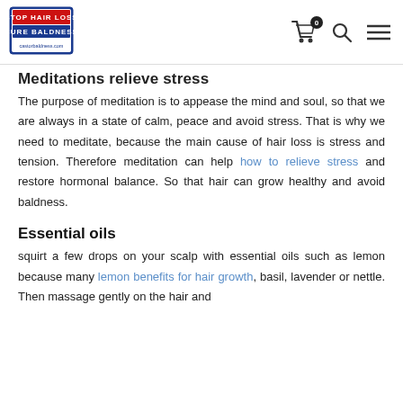Stop Hair Loss Cure Baldness — castorbaldness.com [cart icon with badge 0, search icon, menu icon]
Meditations relieve stress
The purpose of meditation is to appease the mind and soul, so that we are always in a state of calm, peace and avoid stress. That is why we need to meditate, because the main cause of hair loss is stress and tension. Therefore meditation can help how to relieve stress and restore hormonal balance. So that hair can grow healthy and avoid baldness.
Essential oils
squirt a few drops on your scalp with essential oils such as lemon because many lemon benefits for hair growth, basil, lavender or nettle. Then massage gently on the hair and